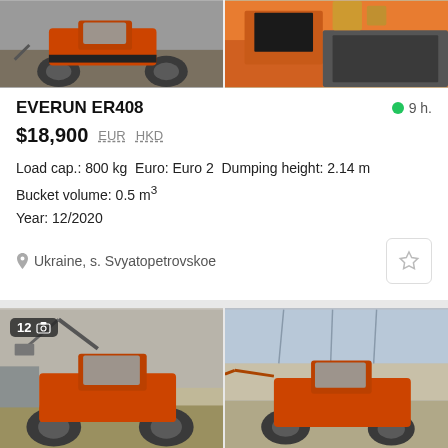[Figure (photo): Top-left photo of an orange/grey wheeled loader on dirt ground]
[Figure (photo): Top-right photo of orange machinery detail, close-up of seat/cab area]
EVERUN ER408
9 h.
$18,900  EUR  HKD
Load cap.: 800 kg   Euro: Euro 2   Dumping height: 2.14 m
Bucket volume: 0.5 m³
Year: 12/2020
Ukraine, s. Svyatopetrovskoe
[Figure (photo): Bottom-left photo of orange wheeled loader with forks raised, in an industrial yard]
[Figure (photo): Bottom-right photo of orange wheeled loader side view in open yard with power lines in background]